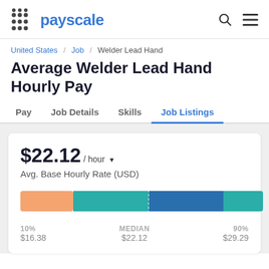[Figure (logo): PayScale logo with dot grid and blue text]
United States / Job / Welder Lead Hand
Average Welder Lead Hand Hourly Pay
Pay | Job Details | Skills | Job Listings
$22.12 / hour Avg. Base Hourly Rate (USD)
[Figure (bar-chart): Hourly Pay Distribution]